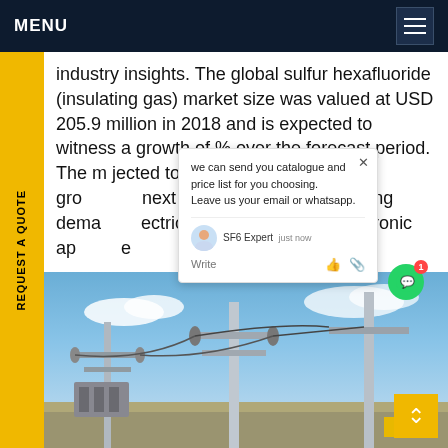MENU
industry insights. The global sulfur hexafluoride (insulating gas) market size was valued at USD 205.9 million in 2018 and is expected to witness a growth of % over the forecast period. The m jected to witness significant gro next en years owing to its rising dema ectric dium for electrical electronic ap e
[Figure (screenshot): Live chat popup with message: we can send you catalogue and price list for you choosing. Leave us your email or whatsapp. SF6 Expert just now. Write input with like and attachment icons.]
[Figure (photo): Electrical substation with transmission towers, insulators, and power lines against a blue sky with clouds.]